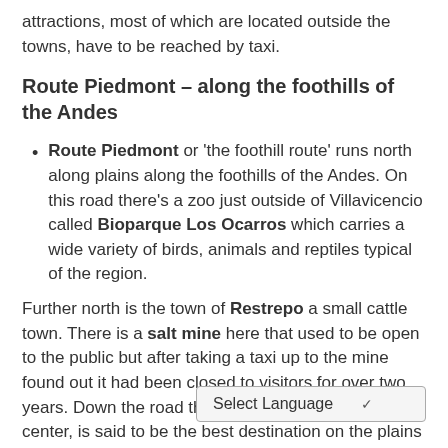attractions, most of which are located outside the towns, have to be reached by taxi.
Route Piedmont – along the foothills of the Andes
Route Piedmont or 'the foothill route' runs north along plains along the foothills of the Andes. On this road there's a zoo just outside of Villavicencio called Bioparque Los Ocarros which carries a wide variety of birds, animals and reptiles typical of the region.
Further north is the town of Restrepo a small cattle town. There is a salt mine here that used to be open to the public but after taking a taxi up to the mine found out it had been closed to visitors for over two years. Down the road the pueblo of Cumaral, a cattle center, is said to be the best destination on the plains to indulge in a big meal of beef.
After lunch, another short bus [Select Language] wn of Baraca – a center for pineapple production. A short ride